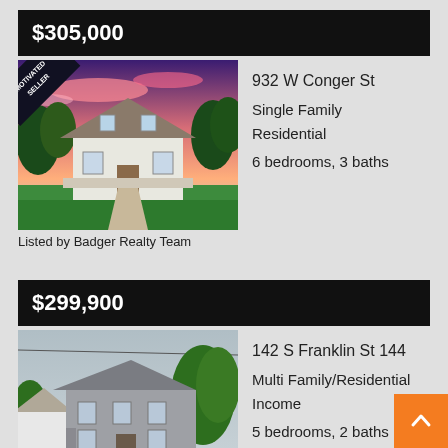$305,000
[Figure (photo): Exterior photo of a white two-story single family home with wrap-around porch and green lawn at dusk, with 'Motivated Seller' banner in corner]
932 W Conger St
Single Family Residential
6 bedrooms, 3 baths
Listed by Badger Realty Team
$299,900
[Figure (photo): Exterior photo of a gray two-story multi-family residential building with green lawn and trees]
142 S Franklin St 144
Multi Family/Residential Income
5 bedrooms, 2 baths